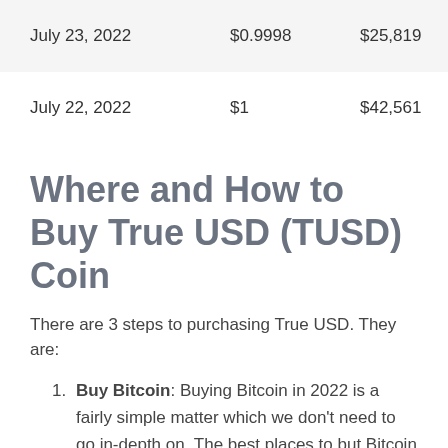| Date | Price | Market Cap |
| --- | --- | --- |
| July 23, 2022 | $0.9998 | $25,819 |
| July 22, 2022 | $1 | $42,561 |
Where and How to Buy True USD (TUSD) Coin
There are 3 steps to purchasing True USD. They are:
Buy Bitcoin: Buying Bitcoin in 2022 is a fairly simple matter which we don't need to go in-depth on. The best places to but Bitcoin directly today with USD or your native currency are: Coinbase, Binance and